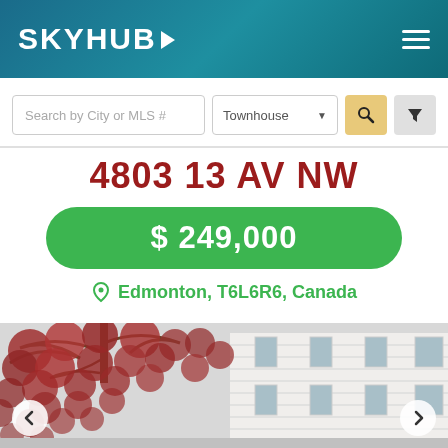SKYHUB
Search by City or MLS # | Townhouse
4803 13 AV NW
$ 249,000
Edmonton, T6L6R6, Canada
[Figure (photo): Exterior photo of a townhouse with white siding and a red-leafed tree in the foreground]